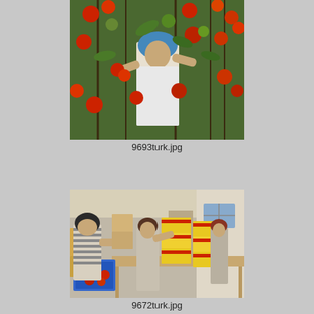[Figure (photo): Woman in blue headscarf picking red tomatoes from tall tomato plants in a greenhouse]
9693turk.jpg
[Figure (photo): Women workers sorting and packing red tomatoes into yellow and blue crates in a packing shed]
9672turk.jpg